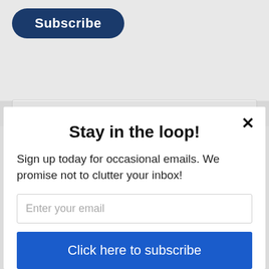[Figure (screenshot): Partial view of a website showing a dark blue Subscribe button (pill shaped) at top, partially cropped]
Search ...
Stay in the loop!
Sign up today for occasional emails. We promise not to clutter your inbox!
Enter your email
Click here to subscribe
powered by MailMunch